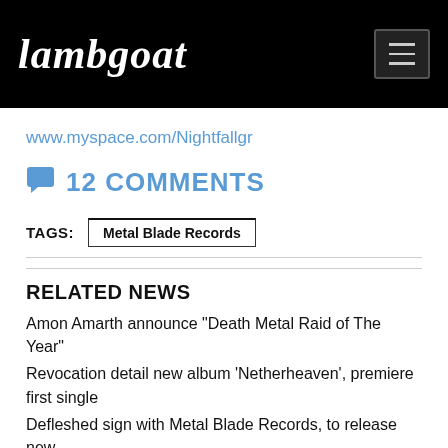Lambgoat
www.myspace.com/Nightfallgr
12 COMMENTS
TAGS: Metal Blade Records
RELATED NEWS
Amon Amarth announce "Death Metal Raid of The Year"
Revocation detail new album 'Netherheaven', premiere first single
Defleshed sign with Metal Blade Records, to release new